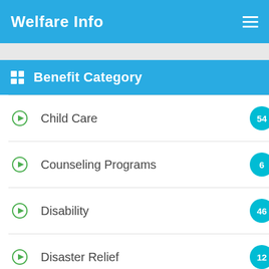Welfare Info
Benefit Category
Child Care
Counseling Programs
Disability
Disaster Relief
Education Training
Employment Assistance
Energy Assistance